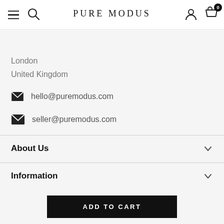PURE MODUS
London
United Kingdom
hello@puremodus.com
seller@puremodus.com
About Us
Information
ADD TO CART